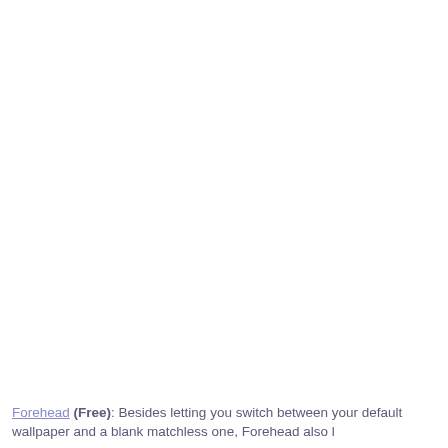Forehead (Free): Besides letting you switch between your default wallpaper and a blank matchless one, Forehead also lets...